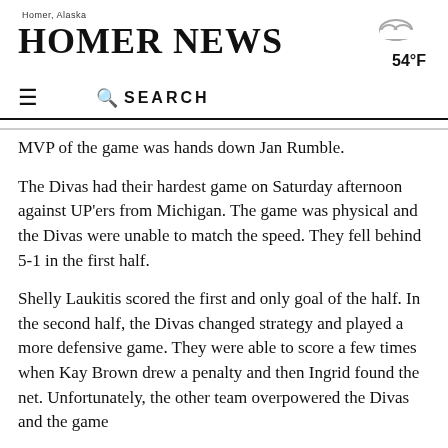Homer, Alaska — HOMER NEWS — 54°F
MVP of the game was hands down Jan Rumble.
The Divas had their hardest game on Saturday afternoon against UP'ers from Michigan. The game was physical and the Divas were unable to match the speed. They fell behind 5-1 in the first half.
Shelly Laukitis scored the first and only goal of the half. In the second half, the Divas changed strategy and played a more defensive game. They were able to score a few times when Kay Brown drew a penalty and then Ingrid found the net. Unfortunately, the other team overpowered the Divas and the game